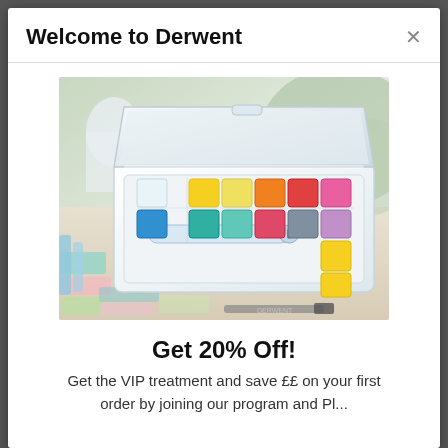Welcome to Derwent
[Figure (photo): A white plastic watercolor palette case open, showing 12 colorful paint pans (yellow, blue, orange, teal, red, pink, grey, and yellow blocks) arranged in two rows, with a water brush pen in the tray, surrounded by art supplies and colorful watercolor swatches on a light wooden surface.]
Get 20% Off!
Get the VIP treatment and save ££ on your first order by joining our program and Pl...